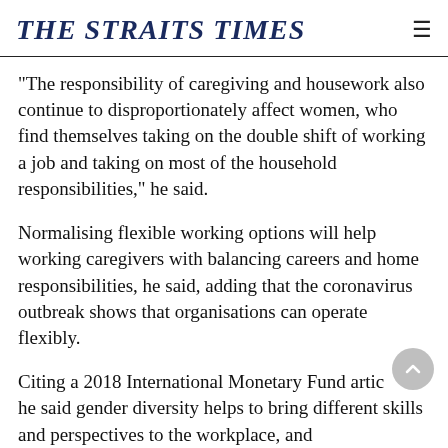THE STRAITS TIMES
"The responsibility of caregiving and housework also continue to disproportionately affect women, who find themselves taking on the double shift of working a job and taking on most of the household responsibilities," he said.
Normalising flexible working options will help working caregivers with balancing careers and home responsibilities, he said, adding that the coronavirus outbreak shows that organisations can operate flexibly.
Citing a 2018 International Monetary Fund artic, he said gender diversity helps to bring different skills and perspectives to the workplace, and